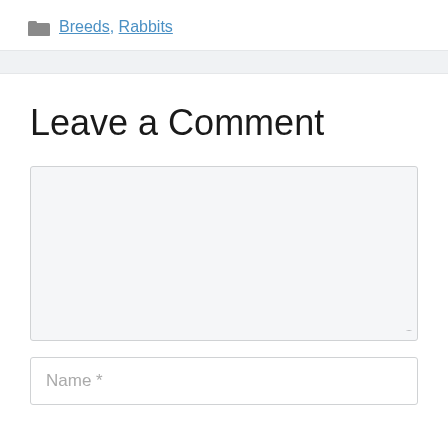Breeds, Rabbits
Leave a Comment
Name *